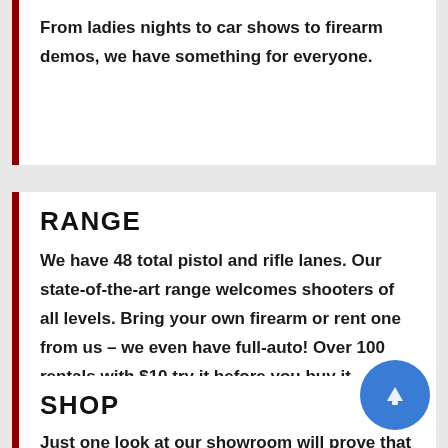From ladies nights to car shows to firearm demos, we have something for everyone.
RANGE
We have 48 total pistol and rifle lanes. Our state-of-the-art range welcomes shooters of all levels. Bring your own firearm or rent one from us – we even have full-auto! Over 100 rentals with $10 try it before you buy it specials.
SHOP
Just one look at our showroom will prove that